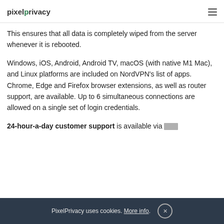pixelprivacy
This ensures that all data is completely wiped from the server whenever it is rebooted.
Windows, iOS, Android, Android TV, macOS (with native M1 Mac), and Linux platforms are included on NordVPN’s list of apps. Chrome, Edge and Firefox browser extensions, as well as router support, are available. Up to 6 simultaneous connections are allowed on a single set of login credentials.
24-hour-a-day customer support is available via
PixelPrivacy uses cookies. More info.